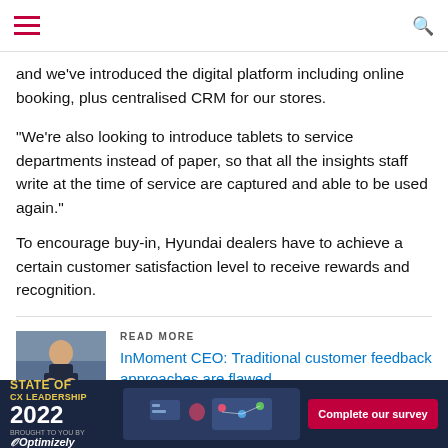and we've introduced the digital platform including online booking, plus centralised CRM for our stores.
“We’re also looking to introduce tablets to service departments instead of paper, so that all the insights staff write at the time of service are captured and able to be used again.”
To encourage buy-in, Hyundai dealers have to achieve a certain customer satisfaction level to receive rewards and recognition.
[Figure (photo): READ MORE callout with photo of a man in a suit clapping, linking to article: InMoment CEO: Traditional customer feedback approaches are flawed]
“We use a lot of customer data in training and we’re also starting to attribute revenue to CX as well,” Jenzen said. “We receive store transactional data and we can calculate the potentia... that don’t in... ts
[Figure (infographic): Ad banner: STATE OF CX LEADERSHIP 2022, BROUGHT TO YOU BY Optimizely, Complete our survey button]